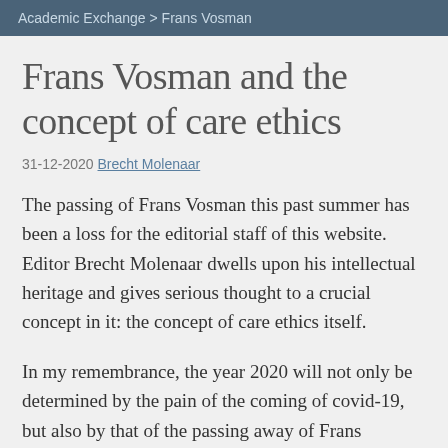Academic Exchange > Frans Vosman
Frans Vosman and the concept of care ethics
31-12-2020 Brecht Molenaar
The passing of Frans Vosman this past summer has been a loss for the editorial staff of this website. Editor Brecht Molenaar dwells upon his intellectual heritage and gives serious thought to a crucial concept in it: the concept of care ethics itself.
In my remembrance, the year 2020 will not only be determined by the pain of the coming of covid-19, but also by that of the passing away of Frans